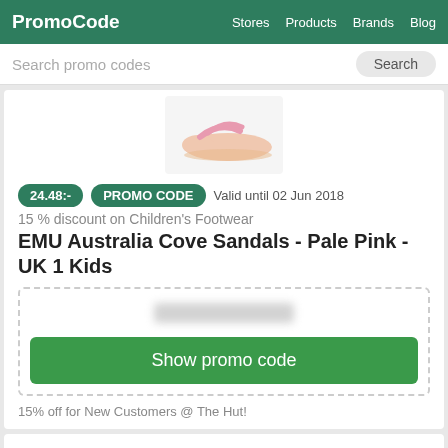PromoCode   Stores   Products   Brands   Blog
Search promo codes   Search
[Figure (photo): Pink children's sandal shoe on white/light grey background]
24.48:-   PROMO CODE   Valid until 02 Jun 2018
15 % discount on Children's Footwear
EMU Australia Cove Sandals - Pale Pink - UK 1 Kids
[Figure (other): Blurred promo code text inside dashed border box with Show promo code green button]
Show promo code
15% off for New Customers @ The Hut!